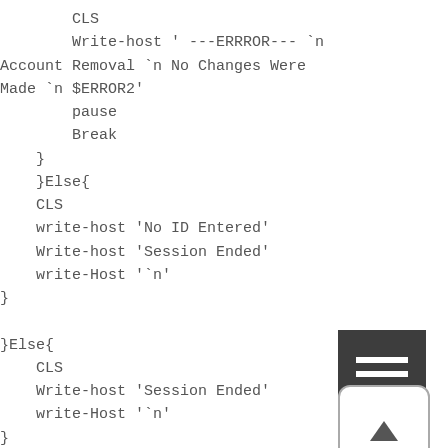CLS
    Write-host ' ---ERRROR--- `n Account Removal `n No Changes Were Made `n $ERROR2'
        pause
        Break
    }
    }Else{
    CLS
    write-host 'No ID Entered'
    Write-host 'Session Ended'
    write-Host '`n'
}

}Else{
    CLS
    Write-host 'Session Ended'
    write-Host '`n'
}
[Figure (other): Dark square menu/hamburger icon with three white horizontal bars]
[Figure (other): Rounded square button with upward-pointing triangle/arrow icon]